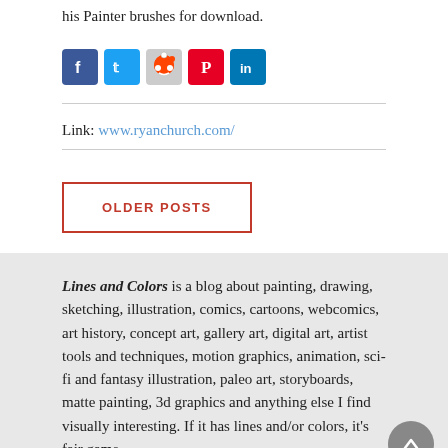his Painter brushes for download.
[Figure (other): Social sharing icons: Facebook, Twitter, Reddit, Pinterest, LinkedIn]
Link: www.ryanchurch.com/
OLDER POSTS
Lines and Colors is a blog about painting, drawing, sketching, illustration, comics, cartoons, webcomics, art history, concept art, gallery art, digital art, artist tools and techniques, motion graphics, animation, sci-fi and fantasy illustration, paleo art, storyboards, matte painting, 3d graphics and anything else I find visually interesting. If it has lines and/or colors, it's fair game.